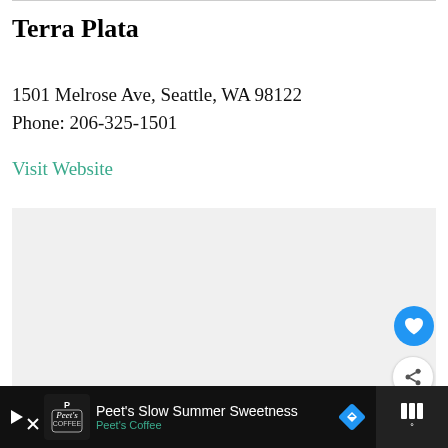Terra Plata
1501 Melrose Ave, Seattle, WA 98122
Phone: 206-325-1501
Visit Website
[Figure (screenshot): Embedded map/image area, light gray background with UI overlays: heart (favorite) button in blue circle, share button in white circle, and a 'What's Next' card showing '18 Fast Food Restaurants...']
[Figure (photo): Advertisement bar at bottom: Peet's Coffee ad with text 'Peet's Slow Summer Sweetness / Peet's Coffee', blue diamond navigation icon, and a secondary panel on the right with gray/white bars.]